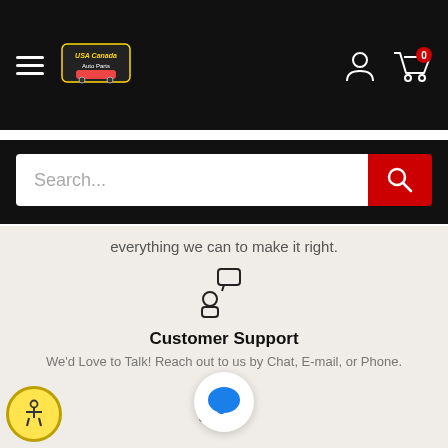[Figure (screenshot): E-commerce website header with hamburger menu, logo, user icon, and cart icon with 0 badge on black background]
[Figure (screenshot): Search bar with placeholder text 'Search...' and red search button]
everything we can to make it right.
[Figure (illustration): Customer support icon: person with speech bubble]
Customer Support
We'd Love to Talk! Reach out to us by Chat, E-mail, or Phone.
[Figure (illustration): Secure payments icon: credit card with lock]
Secure Payments
Personal and Financial Information is Guaranteed Secure by our Platform's PCI Level 1 Compliance
[Figure (illustration): Accessibility badge (yellow circle with person icon)]
[Figure (illustration): Blue chat bubble overlay]